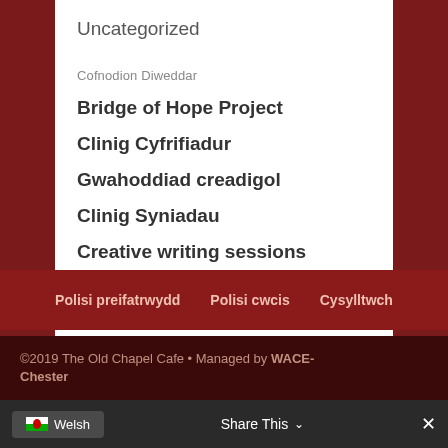Uncategorized
Cofnodion Diweddar
Bridge of Hope Project
Clinig Cyfrifiadur
Gwahoddiad creadigol
Clinig Syniadau
Creative writing sessions
Polisi preifatrwydd  Polisi cwcis  Cysylltwch
©2019 The Old Chapel Cafe • Managed by WACE-Chester
Welsh  Share This  ✕